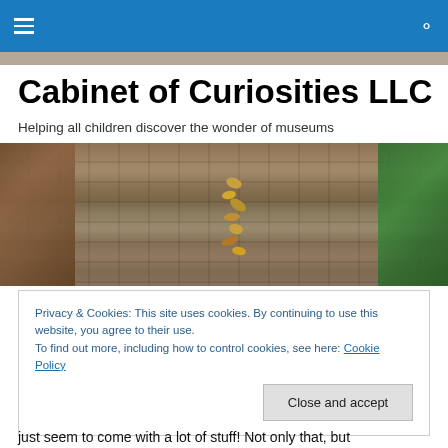Cabinet of Curiosities LLC — navigation bar
Cabinet of Curiosities LLC
Helping all children discover the wonder of museums
[Figure (photo): A stone/brick patio path with fallen autumn leaves scattered along the center, flanked by mulch/soil on the left and green grass on the right.]
Privacy & Cookies: This site uses cookies. By continuing to use this website, you agree to their use.
To find out more, including how to control cookies, see here: Cookie Policy
[Close and accept]
just seem to come with a lot of stuff! Not only that, but